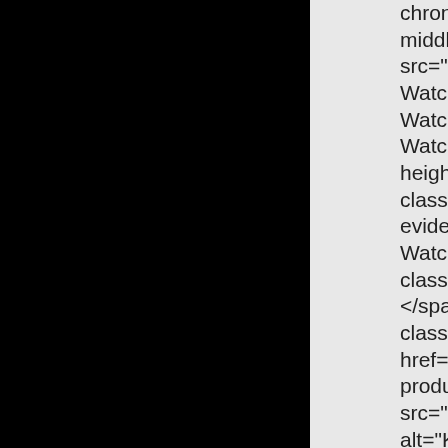[Figure (screenshot): Black rectangle on the left side of the page, representing a dark/black area.]
chronogra middle;hei src="http:/ Watches/L Watch evid Watch evid height="15 class="iten evidenza-w Watch evid class="listi </span>&n class="pro href="http: products_i src="http:/ alt="Kjøp n </a><br /> <div class= <a href="h chronograp middle;hei src="http:/ Watches/L